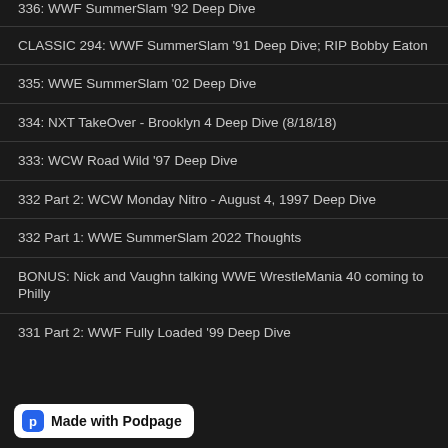336: WWF SummerSlam '92 Deep Dive
CLASSIC 294: WWF SummerSlam '91 Deep Dive; RIP Bobby Eaton
335: WWE SummerSlam '02 Deep Dive
334: NXT TakeOver - Brooklyn 4 Deep Dive (8/18/18)
333: WCW Road Wild '97 Deep Dive
332 Part 2: WCW Monday Nitro - August 4, 1997 Deep Dive
332 Part 1: WWE SummerSlam 2022 Thoughts
BONUS: Nick and Vaughn talking WWE WrestleMania 40 coming to Philly
331 Part 2: WWF Fully Loaded '99 Deep Dive